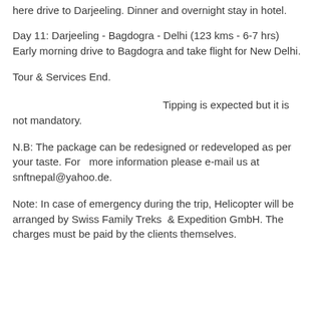here drive to Darjeeling. Dinner and overnight stay in hotel.
Day 11: Darjeeling - Bagdogra - Delhi (123 kms - 6-7 hrs) Early morning drive to Bagdogra and take flight for New Delhi.
Tour & Services End.
Tipping is expected but it is not mandatory.
N.B: The package can be redesigned or redeveloped as per your taste. For   more information please e-mail us at snftnepal@yahoo.de.
Note: In case of emergency during the trip, Helicopter will be arranged by Swiss Family Treks  & Expedition GmbH. The charges must be paid by the clients themselves.